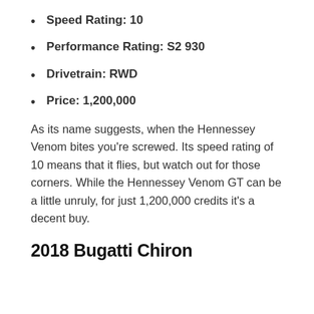Speed Rating: 10
Performance Rating: S2 930
Drivetrain: RWD
Price: 1,200,000
As its name suggests, when the Hennessey Venom bites you're screwed. Its speed rating of 10 means that it flies, but watch out for those corners. While the Hennessey Venom GT can be a little unruly, for just 1,200,000 credits it's a decent buy.
2018 Bugatti Chiron